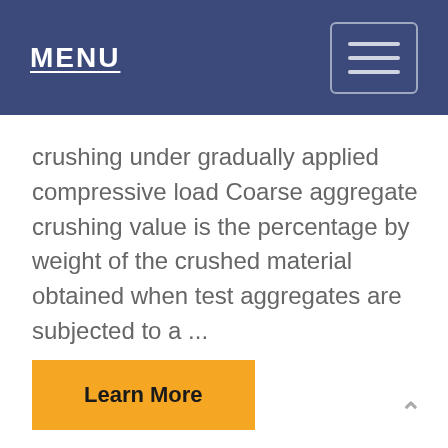MENU
crushing under gradually applied compressive load Coarse aggregate crushing value is the percentage by weight of the crushed material obtained when test aggregates are subjected to a ...
[Figure (other): Learn More button — yellow rectangular button with bold text 'Learn More']